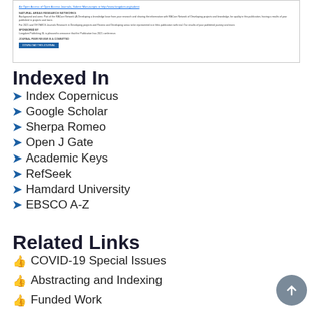[Figure (screenshot): Screenshot of a journal article page with a link, abstract text, sponsored by section, and a submit/download button]
Indexed In
Index Copernicus
Google Scholar
Sherpa Romeo
Open J Gate
Academic Keys
RefSeek
Hamdard University
EBSCO A-Z
Related Links
COVID-19 Special Issues
Abstracting and Indexing
Funded Work